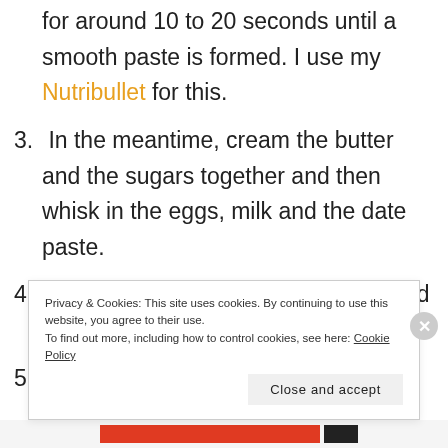for around 10 to 20 seconds until a smooth paste is formed. I use my Nutribullet for this.
3. In the meantime, cream the butter and the sugars together and then whisk in the eggs, milk and the date paste.
4. Sift in the flour and the cinnamon and fold them in to the liquid ingredients.
5. Pour the batter into the baking tin and bake for 25 – 35 minutes or until a skewer inserted
Privacy & Cookies: This site uses cookies. By continuing to use this website, you agree to their use.
To find out more, including how to control cookies, see here: Cookie Policy
Close and accept